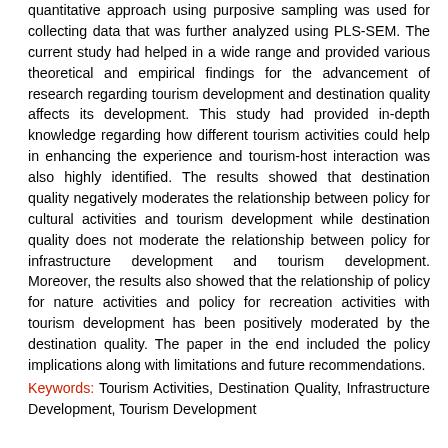quantitative approach using purposive sampling was used for collecting data that was further analyzed using PLS-SEM. The current study had helped in a wide range and provided various theoretical and empirical findings for the advancement of research regarding tourism development and destination quality affects its development. This study had provided in-depth knowledge regarding how different tourism activities could help in enhancing the experience and tourism-host interaction was also highly identified. The results showed that destination quality negatively moderates the relationship between policy for cultural activities and tourism development while destination quality does not moderate the relationship between policy for infrastructure development and tourism development. Moreover, the results also showed that the relationship of policy for nature activities and policy for recreation activities with tourism development has been positively moderated by the destination quality. The paper in the end included the policy implications along with limitations and future recommendations.
Keywords: Tourism Activities, Destination Quality, Infrastructure Development, Tourism Development